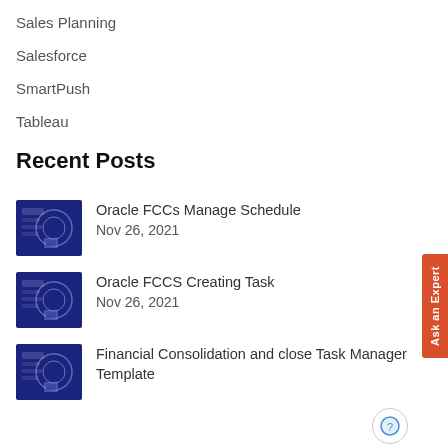Sales Planning
Salesforce
SmartPush
Tableau
Recent Posts
[Figure (illustration): Thumbnail image for Oracle FCCs Manage Schedule post — dark blue background with circular diagram]
Oracle FCCs Manage Schedule
Nov 26, 2021
[Figure (illustration): Thumbnail image for Oracle FCCS Creating Task post — dark blue background with circular diagram]
Oracle FCCS Creating Task
Nov 26, 2021
[Figure (illustration): Thumbnail image for Financial Consolidation and close Task Manager Template post — dark blue background with circular diagram]
Financial Consolidation and close Task Manager
Template